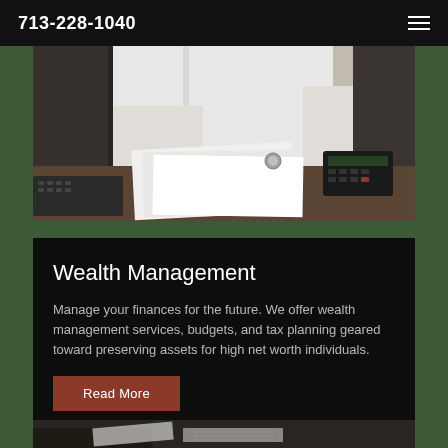713-228-1040
[Figure (photo): A person in a white shirt seated at a desk reviewing documents, with a calculator and binders visible in an office setting.]
Wealth Management
Manage your finances for the future. We offer wealth management services, budgets, and tax planning geared toward preserving assets for high net worth individuals.
Read More
[Figure (photo): Partial view of hands holding financial documents or reports at a desk.]